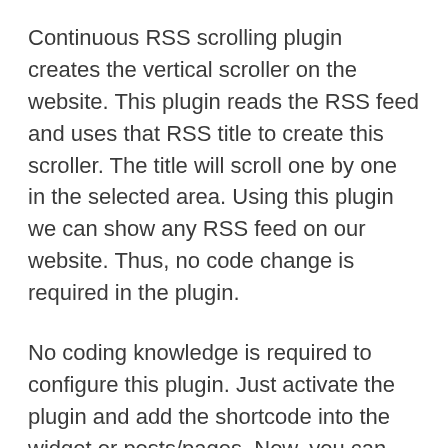Continuous RSS scrolling plugin creates the vertical scroller on the website. This plugin reads the RSS feed and uses that RSS title to create this scroller. The title will scroll one by one in the selected area. Using this plugin we can show any RSS feed on our website. Thus, no code change is required in the plugin.
No coding knowledge is required to configure this plugin. Just activate the plugin and add the shortcode into the widget or posts/pages. Now, you can able to see the scroll on the front end with default plugin settings.